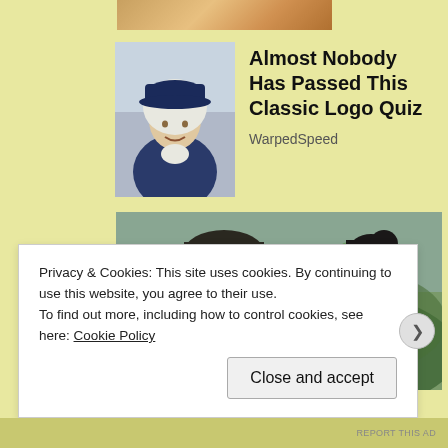[Figure (photo): Partial top image of a stuffed toy or cartoon character, cropped, yellowish-brown tones]
[Figure (photo): Thumbnail of a colonial-era character wearing a blue hat with white wig, used as quiz card image]
Almost Nobody Has Passed This Classic Logo Quiz
WarpedSpeed
[Figure (photo): Movie still showing two green-skinned Hulk-like characters (a man and a woman) facing each other outdoors, with greenery in the background]
Privacy & Cookies: This site uses cookies. By continuing to use this website, you agree to their use.
To find out more, including how to control cookies, see here: Cookie Policy
Close and accept